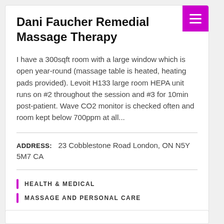Dani Faucher Remedial Massage Therapy
I have a 300sqft room with a large window which is open year-round (massage table is heated, heating pads provided). Levoit H133 large room HEPA unit runs on #2 throughout the session and #3 for 10min post-patient. Wave CO2 monitor is checked often and room kept below 700ppm at all...
ADDRESS:  23 Cobblestone Road London, ON N5Y 5M7 CA
HEALTH & MEDICAL
MASSAGE AND PERSONAL CARE